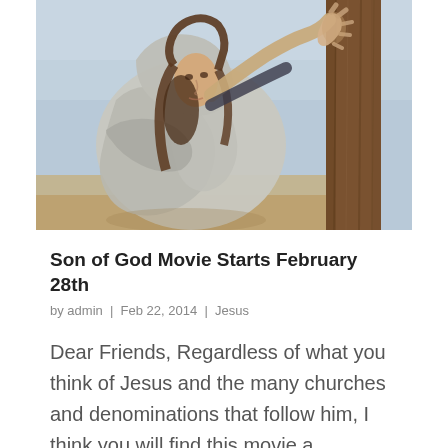[Figure (photo): A person with long hair wrapped in a cloak reaching up and grasping a large wooden post or cross, set against a pale sky background. The hand is dirty/dusty. A cinematic still from a religious film.]
Son of God Movie Starts February 28th
by admin | Feb 22, 2014 | Jesus
Dear Friends, Regardless of what you think of Jesus and the many churches and denominations that follow him, I think you will find this movie a compelling, powerful, inspiring and educational